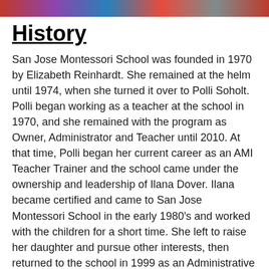[Figure (photo): Partial photo strip at top of page showing people, appears to be a group or event photo cropped to a narrow horizontal band.]
History
San Jose Montessori School was founded in 1970 by Elizabeth Reinhardt. She remained at the helm until 1974, when she turned it over to Polli Soholt. Polli began working as a teacher at the school in 1970, and she remained with the program as Owner, Administrator and Teacher until 2010. At that time, Polli began her current career as an AMI Teacher Trainer and the school came under the ownership and leadership of Ilana Dover. Ilana became certified and came to San Jose Montessori School in the early 1980’s and worked with the children for a short time. She left to raise her daughter and pursue other interests, then returned to the school in 1999 as an Administrative Assistant. The following year she opened the second environment as the school expanded to two classrooms. She continued to work in the classroom as she took over the leadership role in 2010. Ilana worked in those capacities until her untimely death in early 2017.